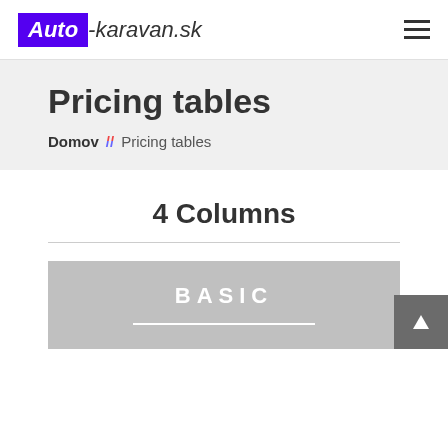Auto-karavan.sk
Pricing tables
Domov // Pricing tables
4 Columns
BASIC